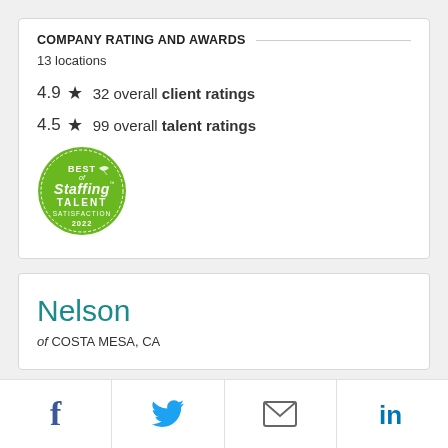COMPANY RATING AND AWARDS
13 locations
4.9 ★ 32 overall client ratings
4.5 ★ 99 overall talent ratings
[Figure (logo): Best of Staffing TALENT SATISFACTION 2022 green circular badge]
Nelson
of COSTA MESA, CA
[Figure (infographic): Social sharing bar with Facebook, Twitter, email, and LinkedIn icons]